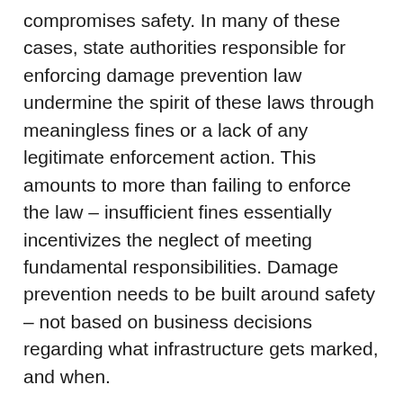compromises safety. In many of these cases, state authorities responsible for enforcing damage prevention law undermine the spirit of these laws through meaningless fines or a lack of any legitimate enforcement action. This amounts to more than failing to enforce the law – insufficient fines essentially incentivizes the neglect of meeting fundamental responsibilities. Damage prevention needs to be built around safety – not based on business decisions regarding what infrastructure gets marked, and when.
As policies that will be included in a comprehensive infrastructure bill are debated, NUCA encouraged consideration of language that would strengthen state enforcement of damage prevention law. This would increase the safety of all underground utility infrastructure projects, from water and sewer to broadband to gas